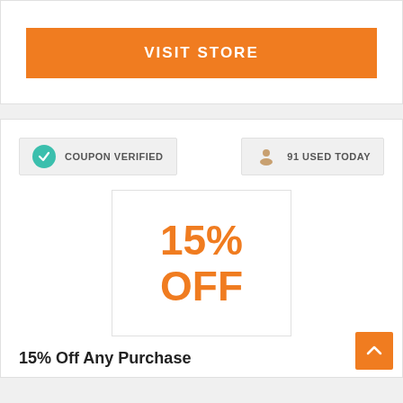VISIT STORE
COUPON VERIFIED
91 USED TODAY
15% OFF
15% Off Any Purchase